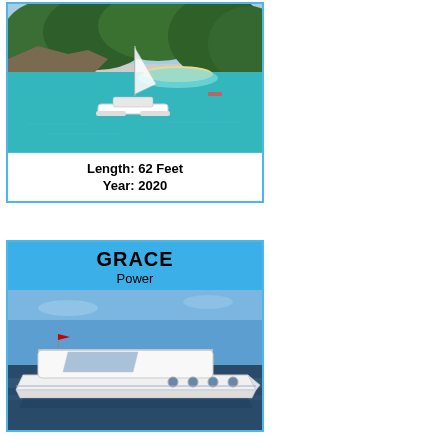[Figure (photo): Aerial view of a white catamaran sailboat anchored in turquoise water near a rocky coastline with dense green trees and a small sandy beach]
Length: 62 Feet
Year: 2020
GRACE
Power
[Figure (photo): White luxury motor yacht (power boat) on calm dark water with a clear blue sky]